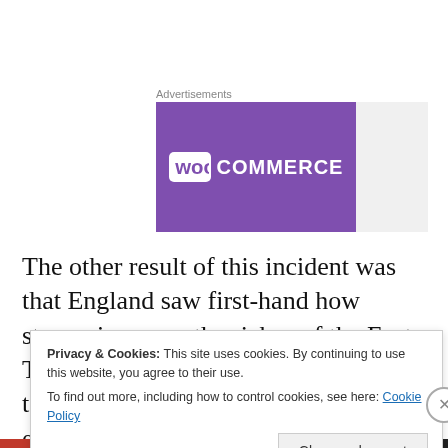Advertisements
[Figure (logo): WooCommerce advertisement banner with purple background and white WooCommerce logo]
The other result of this incident was that England saw first-hand how staggering were the riches of the East. The Macau document became the template for voyages that would eventually lead to the establishing of the East India Company in 1600.
Privacy & Cookies: This site uses cookies. By continuing to use this website, you agree to their use.
To find out more, including how to control cookies, see here: Cookie Policy
Close and accept